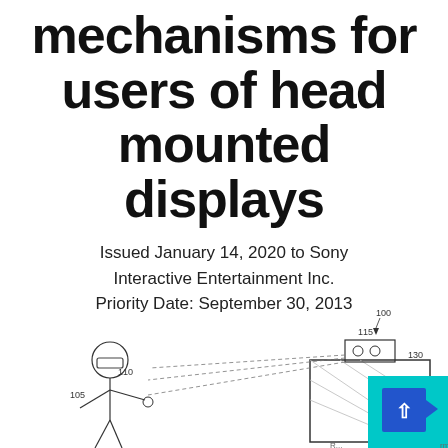mechanisms for users of head mounted displays
Issued January 14, 2020 to Sony Interactive Entertainment Inc.
Priority Date: September 30, 2013
[Figure (engineering-diagram): Patent drawing showing a person wearing a head-mounted display (labeled 105, 110) pointing at a TV screen with a camera unit on top (labeled 115, 130, 100). Dotted lines indicate sensor/tracking beams from camera to user.]